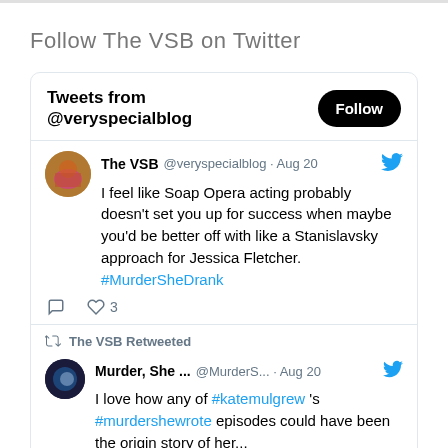Follow The VSB on Twitter
[Figure (screenshot): Twitter widget showing tweets from @veryspecialblog. Header shows 'Tweets from @veryspecialblog' with a Follow button. First tweet by The VSB @veryspecialblog Aug 20: 'I feel like Soap Opera acting probably doesn't set you up for success when maybe you'd be better off with like a Stanislavsky approach for Jessica Fletcher. #MurderSheDrank' with 3 likes. Second section shows 'The VSB Retweeted' followed by a tweet by Murder, She ... @MurderS... Aug 20: 'I love how any of #katemulgrew 's #murdershewrote episodes could have been the origin story of her...']